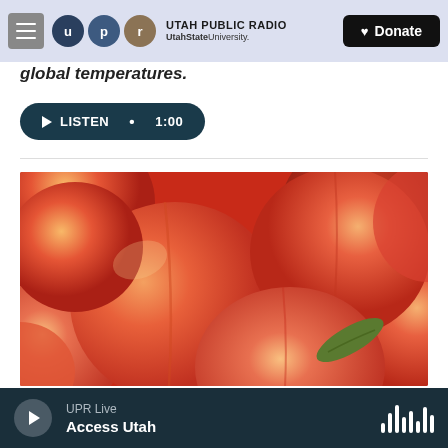Utah Public Radio — UtahState University — Donate
global temperatures.
LISTEN • 1:00
[Figure (photo): Close-up photograph of multiple ripe peaches piled together, with one green peach leaf visible among them. The peaches are orange-red with a velvety skin texture.]
UPR Live — Access Utah